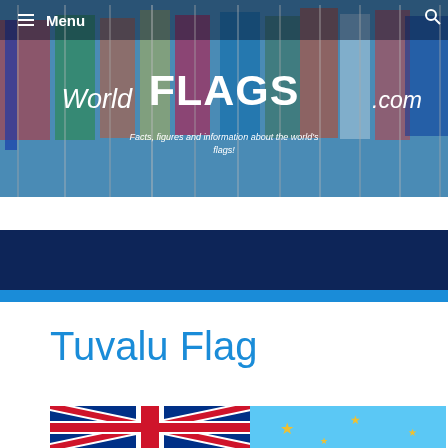[Figure (screenshot): WorldFlags.com website banner with flags background image, website logo reading 'World FLAGS .com', tagline 'Facts, figures and information about the world's flags!']
≡ Menu
≡ Menu
Tuvalu Flag
[Figure (photo): Tuvalu national flag showing UK Union Jack on left portion and light blue field with stars on right portion]